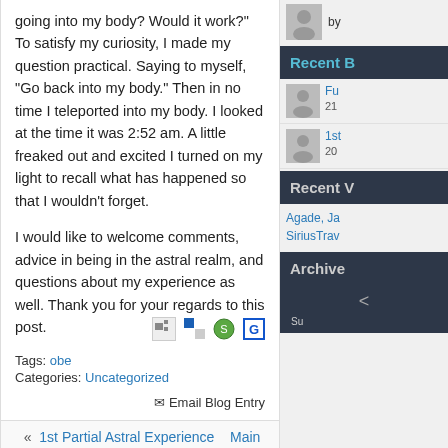going into my body? Would it work?" To satisfy my curiosity, I made my question practical. Saying to myself, "Go back into my body." Then in no time I teleported into my body. I looked at the time it was 2:52 am. A little freaked out and excited I turned on my light to recall what has happened so that I wouldn't forget.
I would like to welcome comments, advice in being in the astral realm, and questions about my experience as well. Thank you for your regards to this post.
Tags: obe
Categories: Uncategorized
✉ Email Blog Entry
« 1st Partial Astral Experience    Main
Comments
Astral-Suit - 22nd October 2012 01:34 PM